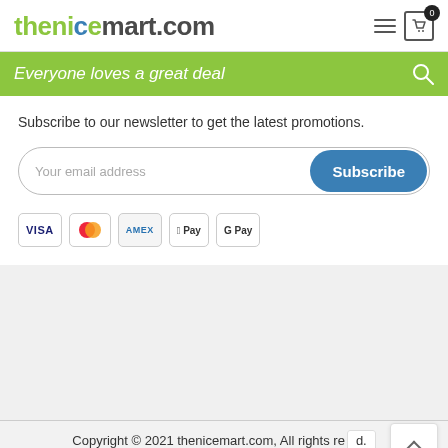thenicemart.com
Everyone loves a great deal
Subscribe to our newsletter to get the latest promotions.
[Figure (screenshot): Email subscription form with 'Your email address' placeholder and a blue 'Subscribe' button]
[Figure (screenshot): Payment method icons: VISA, Mastercard, AMEX, Apple Pay, Google Pay]
Copyright © 2021 thenicemart.com, All rights reserved. Blog Contact About Us Shop